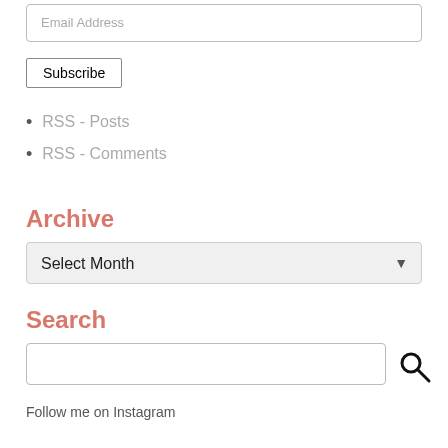Email Address
Subscribe
RSS - Posts
RSS - Comments
Archive
Select Month
Search
Follow me on Instagram